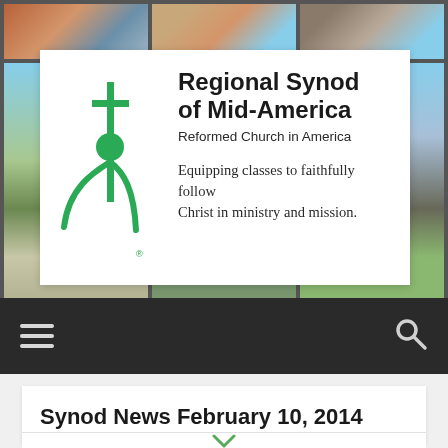[Figure (photo): Header collage of six church building photographs arranged in a 3-column grid]
[Figure (logo): Regional Synod of Mid-America logo with green cross and figure symbol, white card overlaid on photo collage]
Regional Synod of Mid-America
Reformed Church in America
Equipping classes to faithfully follow Christ in ministry and mission.
[Figure (screenshot): Dark navigation bar with hamburger menu icon on left and search magnifying glass icon on right]
Synod News February 10, 2014